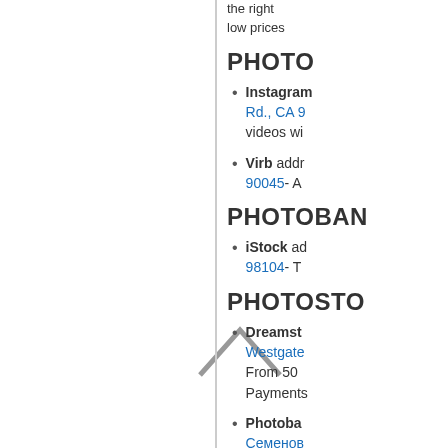the right ... low prices
PHOTO
Instagram Rd., CA 9 videos wi
Virb addr 90045- A
PHOTOBAN
iStock ad 98104- T
PHOTOSTO
Dreamst Westgate From 50 Payments
Photoba Семенов Фотобан There are